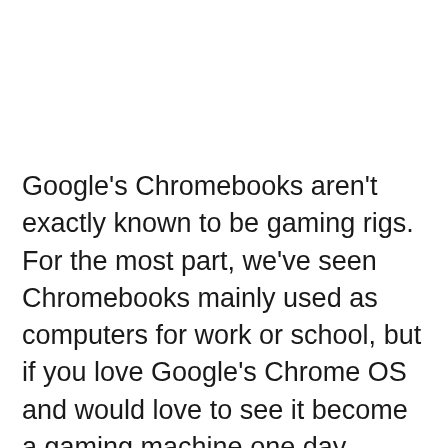Google's Chromebooks aren't exactly known to be gaming rigs. For the most part, we've seen Chromebooks mainly used as computers for work or school, but if you love Google's Chrome OS and would love to see it become a gaming machine one day, you're in luck.